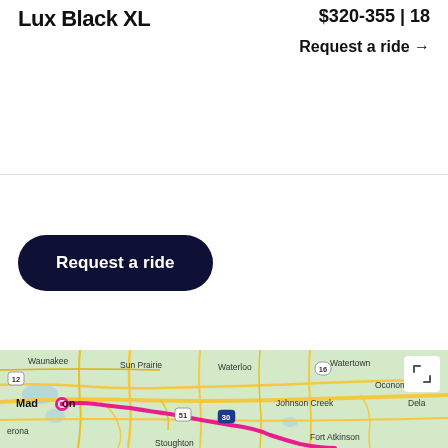Lux Black XL
$320-355 | 18
Request a ride →
Request a ride
[Figure (map): Map showing route from Madison, WI eastward through Sun Prairie, Waterloo, Johnson Creek area toward Fort Atkinson, with pink route line. Labels include Waunakee, Sun Prairie, Waterloo, Watertown, Oconomowoc, Madison, Johnson Creek, Dela, Verona, Stoughton, Fort Atkinson. Highway markers for 12, 16, 51, 30.]